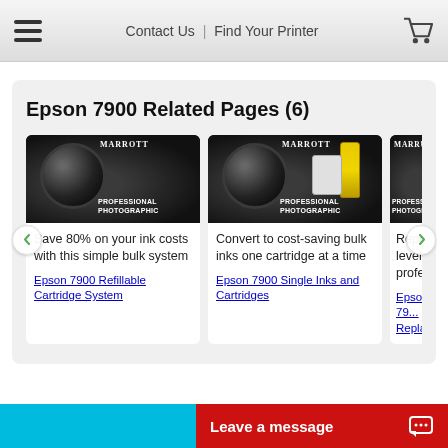Contact Us | Find Your Printer
Epson 7900 Related Pages (6)
[Figure (screenshot): Product image card 1: camera with MARROTT PROFESSIONAL PHOTOGRAPHIC branding]
Save 80% on your ink costs with this simple bulk system
Epson 7900 Refillable Cartridge System
[Figure (screenshot): Product image card 2: camera with ink bottle and cartridge]
Convert to cost-saving bulk inks one cartridge at a time
Epson 7900 Single Inks and Cartridges
[Figure (screenshot): Product image card 3 (partially visible): MARROTT PROFESSIONAL PHOTOGRAPHIC]
Replenish levels with professional
Epson 79... Replacem...
Leave a message